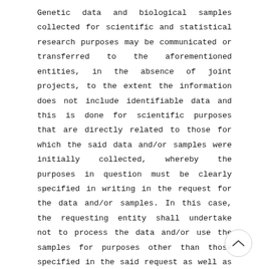Genetic data and biological samples collected for scientific and statistical research purposes may be communicated or transferred to the aforementioned entities, in the absence of joint projects, to the extent the information does not include identifiable data and this is done for scientific purposes that are directly related to those for which the said data and/or samples were initially collected, whereby the purposes in question must be clearly specified in writing in the request for the data and/or samples. In this case, the requesting entity shall undertake not to process the data and/or use the samples for purposes other than those specified in the said request as well as not to communicate or transfer the data to third parties.
Any genetic data that is collected for family reunion purposes may only be communicated to the diplomatic representations and/or consulates that are competent for evaluating the documents submitted by the data subject or else to the international body – regarded as eligible by the Ministry for Foreign Affairs –